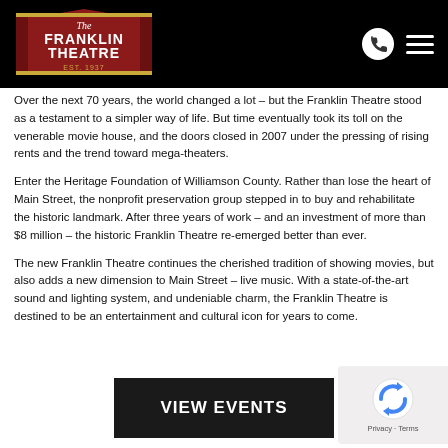The Franklin Theatre - Est. 1937
Over the next 70 years, the world changed a lot – but the Franklin Theatre stood as a testament to a simpler way of life. But time eventually took its toll on the venerable movie house, and the doors closed in 2007 under the pressing of rising rents and the trend toward mega-theaters.
Enter the Heritage Foundation of Williamson County. Rather than lose the heart of Main Street, the nonprofit preservation group stepped in to buy and rehabilitate the historic landmark. After three years of work – and an investment of more than $8 million – the historic Franklin Theatre re-emerged better than ever.
The new Franklin Theatre continues the cherished tradition of showing movies, but also adds a new dimension to Main Street – live music. With a state-of-the-art sound and lighting system, and undeniable charm, the Franklin Theatre is destined to be an entertainment and cultural icon for years to come.
VIEW EVENTS